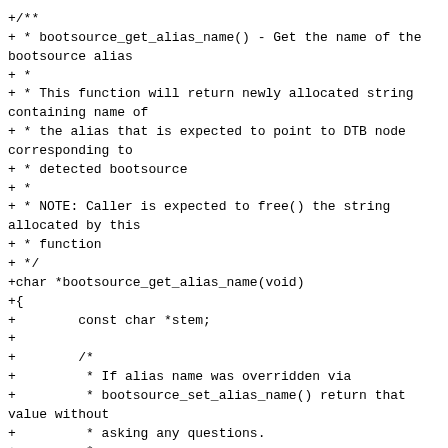+/**
+ * bootsource_get_alias_name() - Get the name of the bootsource alias
+ *
+ * This function will return newly allocated string containing name of
+ * the alias that is expected to point to DTB node corresponding to
+ * detected bootsource
+ *
+ * NOTE: Caller is expected to free() the string allocated by this
+ * function
+ */
+char *bootsource_get_alias_name(void)
+{
+        const char *stem;
+
+        /*
+         * If alias name was overridden via
+         * bootsource_set_alias_name() return that value without
+         * asking any questions.
+         *
+         * Note that we have to strdup() the result to make it
+         * free-able.
+         */
+        if (bootsource_alias_name)
+                return strdup(bootsource alias name);